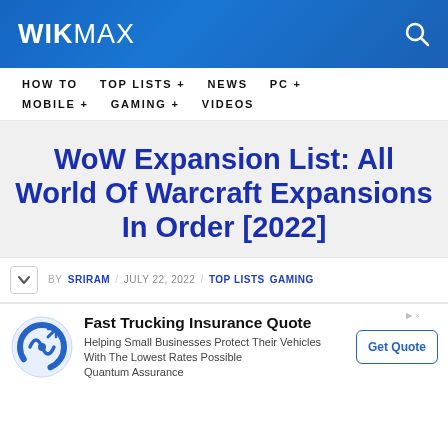WIKWAX
HOW TO  TOP LISTS +  NEWS  PC +  MOBILE +  GAMING +  VIDEOS
WoW Expansion List: All World Of Warcraft Expansions In Order [2022]
BY SRIRAM / JULY 22, 2022 / TOP LISTS GAMING
Fast Trucking Insurance Quote
Helping Small Businesses Protect Their Vehicles With The Lowest Rates Possible
Quantum Assurance